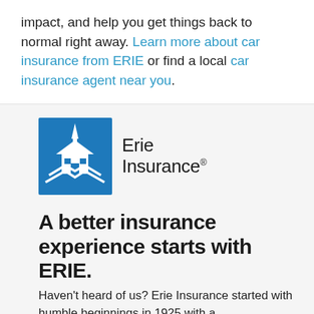impact, and help you get things back to normal right away. Learn more about car insurance from ERIE or find a local car insurance agent near you.
[Figure (logo): Erie Insurance logo: blue square icon with white building/house graphic, next to text 'Erie Insurance' with registered trademark symbol]
A better insurance experience starts with ERIE.
Haven't heard of us? Erie Insurance started with humble beginnings in 1925 with a